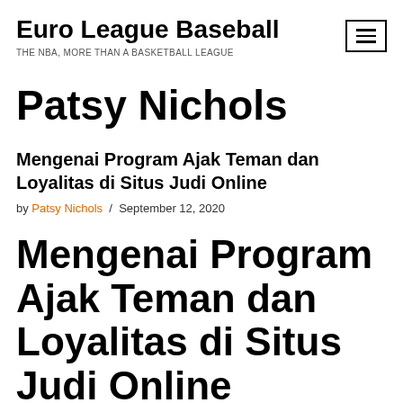Euro League Baseball
THE NBA, MORE THAN A BASKETBALL LEAGUE
Patsy Nichols
Mengenai Program Ajak Teman dan Loyalitas di Situs Judi Online
by Patsy Nichols / September 12, 2020
Mengenai Program Ajak Teman dan Loyalitas di Situs Judi Online